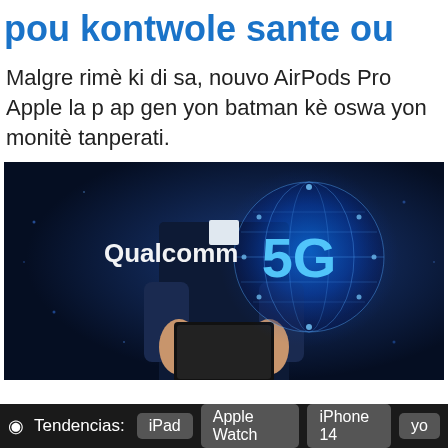pou kontwole sante ou
Malgre rimè ki di sa, nouvo AirPods Pro Apple la p ap gen yon batman kè oswa yon monitè tanperati.
[Figure (photo): Qualcomm 5G promotional image showing a person in a dark suit holding a tablet with a glowing 5G globe hologram and Qualcomm logo]
Tendencias: iPad  Apple Watch  iPhone 14  yo